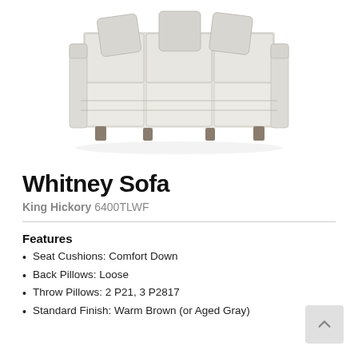[Figure (photo): Product photo of the Whitney Sofa by King Hickory — a large upholstered sofa in a light cream/ivory fabric with button-tufted back cushions, loose back pillows, and warm brown/aged gray wooden legs, viewed from a slightly elevated front angle.]
Whitney Sofa
King Hickory 6400TLWF
Features
Seat Cushions: Comfort Down
Back Pillows: Loose
Throw Pillows: 2 P21, 3 P2817
Standard Finish: Warm Brown (or Aged Gray)